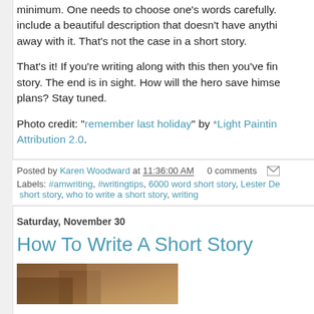minimum. One needs to choose one's words carefully. include a beautiful description that doesn't have anything away with it. That's not the case in a short story.
That's it! If you're writing along with this then you've fin story. The end is in sight. How will the hero save himse plans? Stay tuned.
Photo credit: "remember last holiday" by *Light Paintin Attribution 2.0.
Posted by Karen Woodward at 11:36:00 AM   0 comments
Labels: #amwriting, #writingtips, 6000 word short story, Lester De short story, who to write a short story, writing
Saturday, November 30
How To Write A Short Story
[Figure (photo): Partial image preview at bottom of page, brown/warm toned photograph]